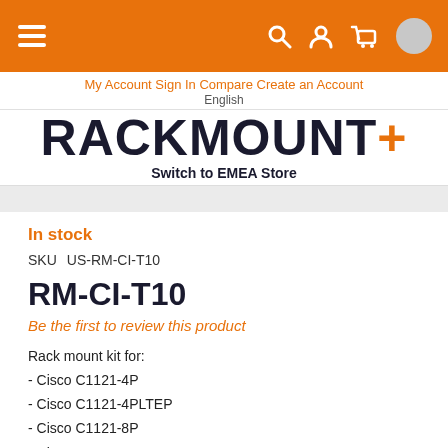RACKMOUNT+ — My Account Sign In Compare Create an Account English Switch to EMEA Store
In stock
SKU  US-RM-CI-T10
RM-CI-T10
Be the first to review this product
Rack mount kit for:
- Cisco C1121-4P
- Cisco C1121-4PLTEP
- Cisco C1121-8P
- Cisco C1121X-8P
- Cisco C1121-8PLTEP
- Cisco C1121X-8PLTEP
- Cisco C1126-8PLTEP